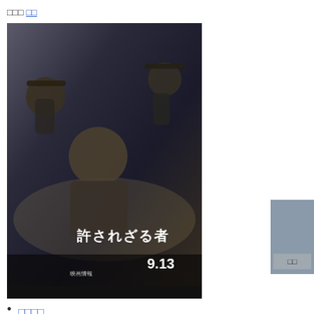□□□ □□
[Figure (photo): Japanese movie poster for '許されざる者' (Unforgiven) showing three men in period costume with hats against a dark atmospheric background. Date shown: 9.13]
□□□□
□□□□□□50□
□□□ □□□□ ／ □□□ ／ □□□□ ／ □□□□ ／ □□□□ ／ □□□□ ／ □□□ ／ □□□□ ／ □□□□ ／ □□□□ ／ □□□□
□□□ □□／ □□／ □□
[Figure (photo): Movie poster or image with colorful characters including figures in traditional Asian costumes against a decorative background]